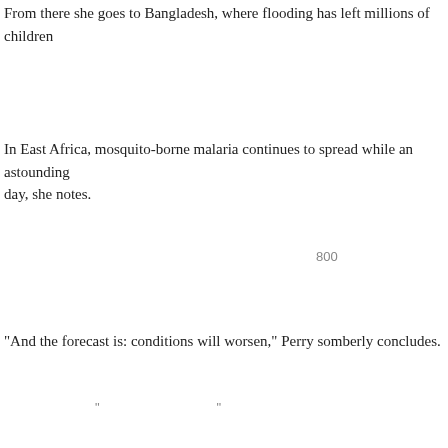From there she goes to Bangladesh, where flooding has left millions of children
[CJK text line]
In East Africa, mosquito-borne malaria continues to spread while an astounding day, she notes.
[CJK text line with 800]
"And the forecast is: conditions will worsen," Perry somberly concludes.
[CJK text line with quoted text]